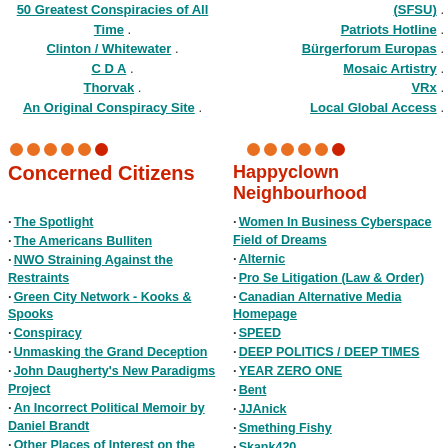50 Greatest Conspiracies of All Time
Clinton / Whitewater
C D A
Thorvak
An Original Conspiracy Site
(SFSU)
Patriots Hotline
Bürgerforum Europas
Mosaic Artistry
VRx
Local Global Access
[Figure (other): Row of orange/red dots decorative separator, left column]
[Figure (other): Row of orange/red dots decorative separator, right column]
Concerned Citizens
Happyclown Neighbourhood
The Spotlight
The Americans Bulliten
NWO Straining Against the Restraints
Green City Network - Kooks & Spooks
Conspiracy
Unmasking the Grand Deception
John Daugherty's New Paradigms Project
An Incorrect Political Memoir by Daniel Brandt
Other Places of Interest on the Web
Grandfather Economic Report
Women In Business Cyberspace Field of Dreams
Alternic
Pro Se Litigation (Law & Order)
Canadian Alternative Media Homepage
SPEED
DEEP POLITICS / DEEP TIMES
YEAR ZERO ONE
Bent
JJAnick
Smething Fishy
Skank420
Karen Black